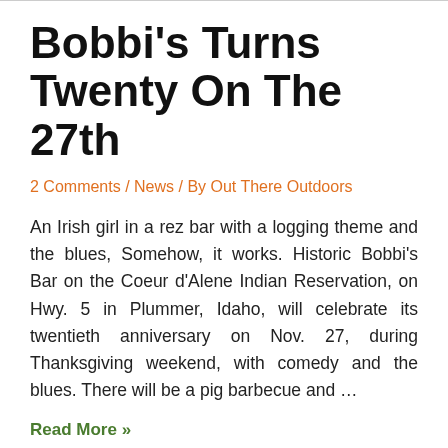Bobbi's Turns Twenty On The 27th
2 Comments / News / By Out There Outdoors
An Irish girl in a rez bar with a logging theme and the blues, Somehow, it works. Historic Bobbi's Bar on the Coeur d'Alene Indian Reservation, on Hwy. 5 in Plummer, Idaho, will celebrate its twentieth anniversary on Nov. 27, during Thanksgiving weekend, with comedy and the blues. There will be a pig barbecue and …
Read More »
Are You Ready?